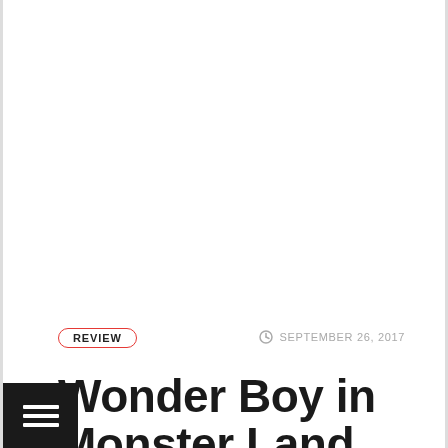REVIEW
SEPTEMBER 26, 2017
Wonder Boy in Monster Land